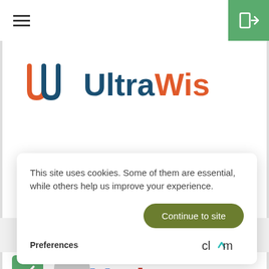[Figure (screenshot): Website header navigation bar with hamburger menu icon on the left and a green login/enter button on the top right]
[Figure (logo): UltraWis company logo showing a stylized W in blue and orange colors with the text UltraWis in blue and orange]
[Figure (screenshot): Cookie consent banner popup with message: This site uses cookies. Some of them are essential, while others help us improve your experience. With a 'Continue to site' button, Preferences link, and Clym branding]
This site uses cookies. Some of them are essential, while others help us improve your experience.
Continue to site
Preferences
[Figure (logo): Clym logo in dark grey text with a teal/cyan checkmark accent]
11
[Figure (logo): Votis logo partially visible at the bottom of the page in blue and red colors, with a green checkmark box overlay on the left]